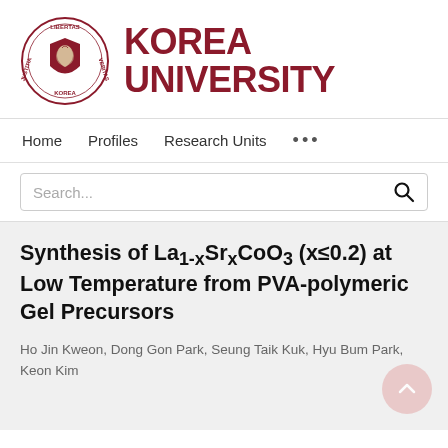[Figure (logo): Korea University logo: circular seal with lion and text 'LIBERTAS JUSTITIA VERITAS' around rim, beside large bold text 'KOREA UNIVERSITY' in dark red/maroon]
Home   Profiles   Research Units   ...
Search...
Synthesis of La1-xSrxCoO3 (x≤0.2) at Low Temperature from PVA-polymeric Gel Precursors
Ho Jin Kweon, Dong Gon Park, Seung Taik Kuk, Hyu Bum Park, Keon Kim